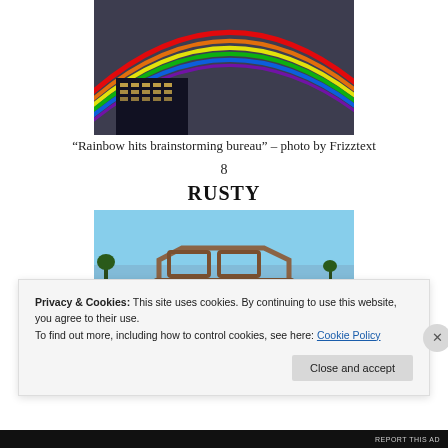[Figure (photo): Photo of a rainbow over a dark building against a stormy sky]
“Rainbow hits brainstorming bureau” – photo by Frizztext
8
RUSTY
[Figure (photo): Photo of a rusted, burned-out car frame against a blue sky]
Privacy & Cookies: This site uses cookies. By continuing to use this website, you agree to their use.
To find out more, including how to control cookies, see here: Cookie Policy
REPORT THIS AD